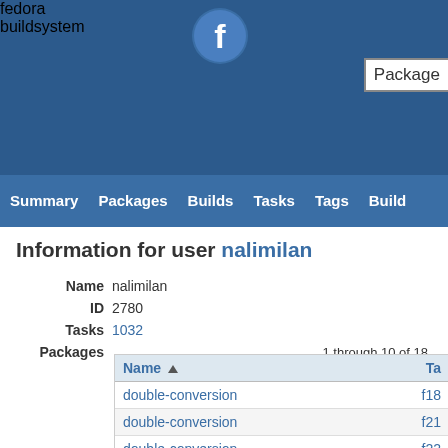fedora buildsystem — Package (search box)
Summary | Packages | Builds | Tasks | Tags | Build
Information for user nalimilan
| Field | Value |
| --- | --- |
| Name | nalimilan |
| ID | 2780 |
| Tasks | 1032 |
| Packages | 1 through 10 of 18 |
| Name ▲ | Ta... |
| --- | --- |
| double-conversion | f18... |
| double-conversion | f21... |
| double-conversion | f22... |
| double-conversion | f22... |
| double-conversion | f24... |
| double-conversion | f23... |
| double-conversion | f2... |